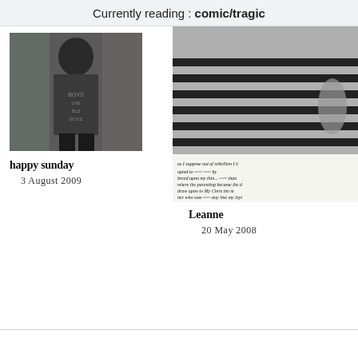Currently reading : comic/tragic
[Figure (photo): Black and white photo of a person wearing a tank top with text 'BOYS LVE SLY GOYZ' and tattoos on arms, standing in front of a brick wall]
happy sunday
3 August 2009
[Figure (photo): Two-part image: top half shows a person in a black and white striped top (torso only), bottom half shows handwritten text in black ink on white paper]
Leanne
20 May 2008